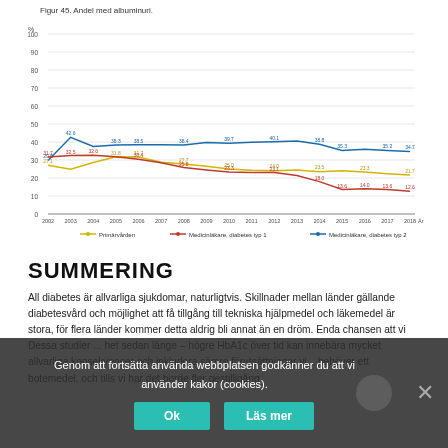Figur 45. Andel med albuminuri.
[Figure (line-chart): Figur 45. Andel med albuminuri.]
SUMMERING
All diabetes är allvarliga sjukdomar, naturligtvis. Skillnader mellan länder gällande diabetesvård och möjlighet att få tillgång till tekniska hjälpmedel och läkemedel är stora, för flera länder kommer detta aldrig bli annat än en dröm. Enda chansen att vi Dessa studier ... het sedan länge – högre HbA1c över tid kan innebära mycket allvarliga konsekvenser och inkludera sämre förutsättningar vi... behöver ett botemedel, och tills vi har det borde fler gestilligång